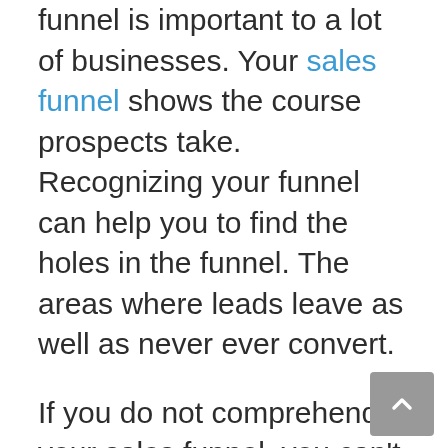funnel is important to a lot of businesses. Your sales funnel shows the course prospects take. Recognizing your funnel can help you to find the holes in the funnel. The areas where leads leave as well as never ever convert.
If you do not comprehend your sales funnel, you can't optimize it. You will need to enter into the specifics of exactly how the funnel works below, however, for now, comprehend that you can affect just how site visitors relocate through the funnel as well as whether they ultimately convert.